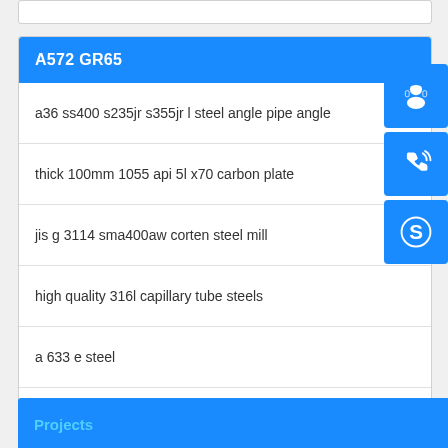A572 GR65
a36 ss400 s235jr s355jr l steel angle pipe angle
thick 100mm 1055 api 5l x70 carbon plate
jis g 3114 sma400aw corten steel mill
high quality 316l capillary tube steels
a 633 e steel
china supplier high strength 316l round bar
[Figure (infographic): Three blue icon buttons: headset/customer service icon, phone/call icon, Skype icon]
Projects